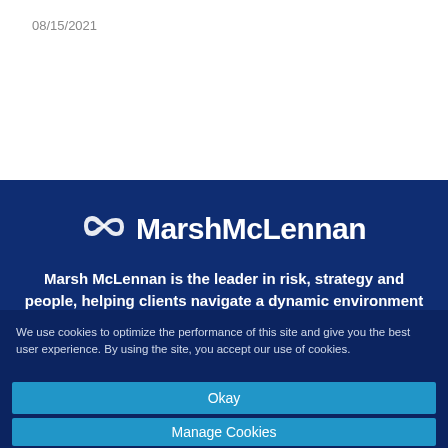08/15/2021
[Figure (logo): Marsh McLennan logo with stylized chain-link icon and wordmark in white on dark blue background]
Marsh McLennan is the leader in risk, strategy and people, helping clients navigate a dynamic environment to find advantage.
We use cookies to optimize the performance of this site and give you the best user experience. By using the site, you accept our use of cookies.
Okay
Manage Cookies